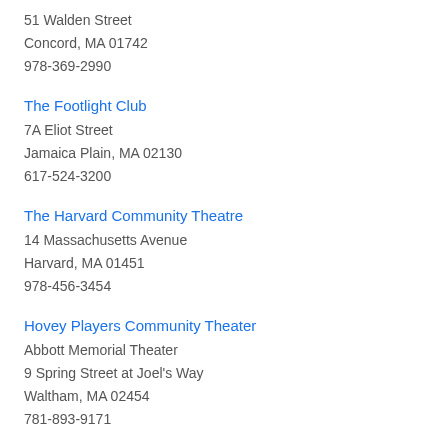51 Walden Street
Concord, MA 01742
978-369-2990
The Footlight Club
7A Eliot Street
Jamaica Plain, MA 02130
617-524-3200
The Harvard Community Theatre
14 Massachusetts Avenue
Harvard, MA 01451
978-456-3454
Hovey Players Community Theater
Abbott Memorial Theater
9 Spring Street at Joel's Way
Waltham, MA 02454
781-893-9171
The Lexington Players